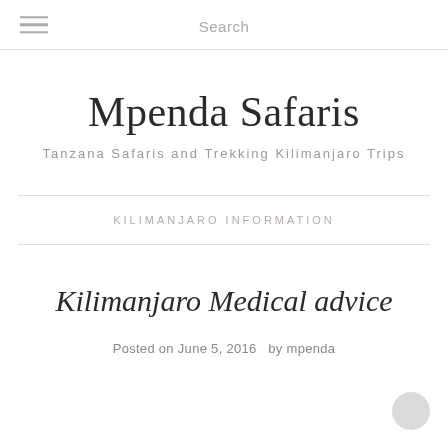Search
Mpenda Safaris
Tanzana Safaris and Trekking Kilimanjaro Trips
KILIMANJARO INFORMATION
Kilimanjaro Medical advice
Posted on June 5, 2016  by mpenda